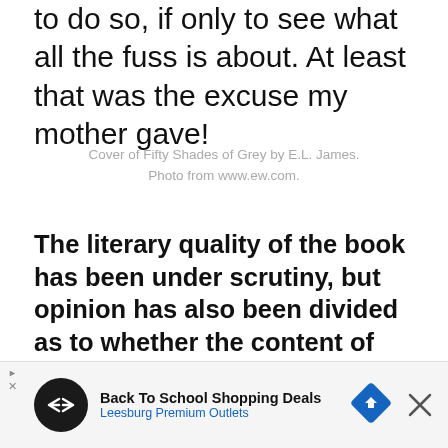to do so, if only to see what all the fuss is about. At least that was the excuse my mother gave!
Cover of Fifty Shades of Grey by E.L. James. Photo from www.ew.com.
The literary quality of the book has been under scrutiny, but opinion has also been divided as to whether the content of this book and others like it, are damaging to the feminist cause and may even be
Privacy & Cookies: This site uses cookies. By continuing to use this website, you agree to their use.
To find out more, including how to control cookies, see here:
Cookie Policy
Back To School Shopping Deals
Leesburg Premium Outlets